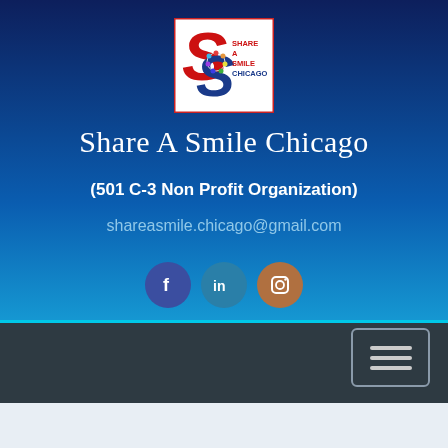[Figure (logo): Share A Smile Chicago logo — red and blue S letters with colorful dots in the middle, text 'SHARE A SMILE CHICAGO' on the right side, white background with red border]
Share A Smile Chicago
(501 C-3 Non Profit Organization)
shareasmile.chicago@gmail.com
[Figure (illustration): Three social media icon buttons: Facebook (f), LinkedIn (in), Instagram (camera icon) in circular buttons]
[Figure (screenshot): Dark navigation bar with hamburger menu icon (three horizontal lines) on the right side]